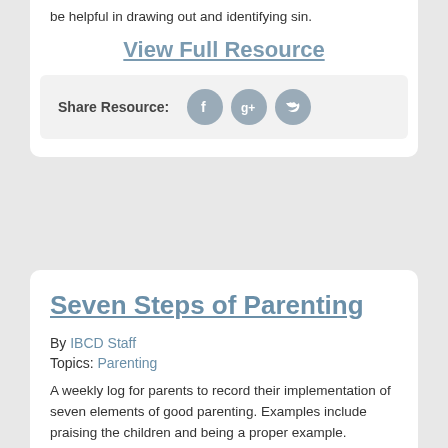be helpful in drawing out and identifying sin.
View Full Resource
Share Resource:
Seven Steps of Parenting
By IBCD Staff
Topics: Parenting
A weekly log for parents to record their implementation of seven elements of good parenting. Examples include praising the children and being a proper example.